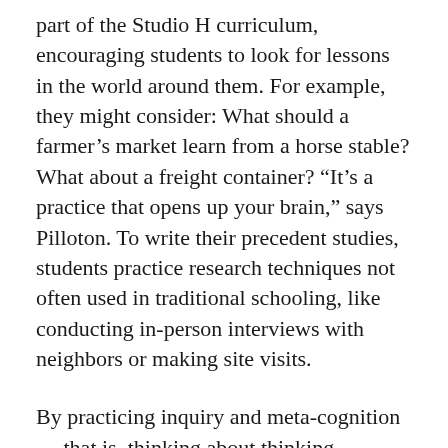part of the Studio H curriculum, encouraging students to look for lessons in the world around them. For example, they might consider: What should a farmer's market learn from a horse stable? What about a freight container? “It’s a practice that opens up your brain,” says Pilloton. To write their precedent studies, students practice research techniques not often used in traditional schooling, like conducting in-person interviews with neighbors or making site visits.
By practicing inquiry and meta-cognition — that is, thinking about thinking — Studio H tries to prompt students to consider the behaviors, habits and activities of their intended audience and respond to them through design. For example, at the start of a project with some eighth graders at REALM,